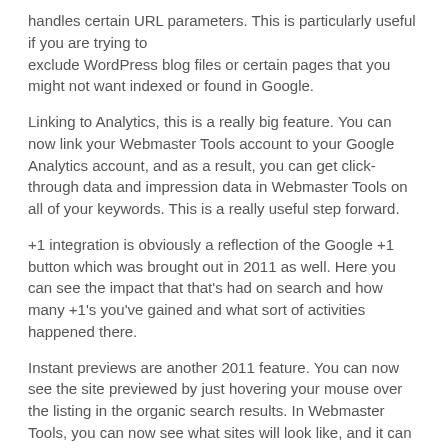handles certain URL parameters. This is particularly useful if you are trying to exclude WordPress blog files or certain pages that you might not want indexed or found in Google.
Linking to Analytics, this is a really big feature. You can now link your Webmaster Tools account to your Google Analytics account, and as a result, you can get click-through data and impression data in Webmaster Tools on all of your keywords. This is a really useful step forward.
+1 integration is obviously a reflection of the Google +1 button which was brought out in 2011 as well. Here you can see the impact that that's had on search and how many +1's you've gained and what sort of activities happened there.
Instant previews are another 2011 feature. You can now see the site previewed by just hovering your mouse over the listing in the organic search results. In Webmaster Tools, you can now see what sites will look like, and it can provide suggestions with how to improve that as well.
Again, this is a summary of what's happened with Google Webmaster Tools. My name is Alec Sharratt. If you want to know anything more